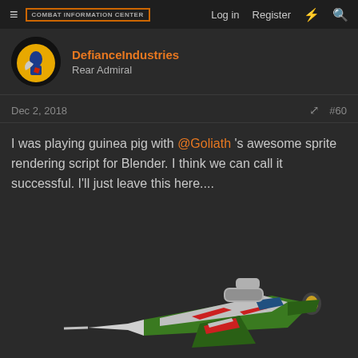COMBAT INFORMATION CENTER | Log in | Register
DefianceIndustries
Rear Admiral
Dec 2, 2018  #60
I was playing guinea pig with @Goliath 's awesome sprite rendering script for Blender. I think we can call it successful. I'll just leave this here....
[Figure (photo): 3D rendered spaceship sprite - green and white spacecraft with red markings, viewed from an isometric angle, rendered in Blender]